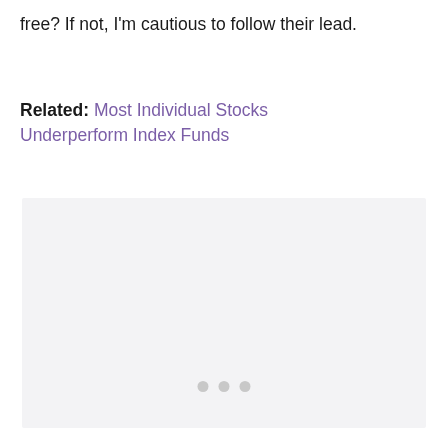free? If not, I'm cautious to follow their lead.
Related: Most Individual Stocks Underperform Index Funds
[Figure (other): Loading placeholder box with three grey dots in the center, representing an advertisement or embedded content area with a light grey background.]